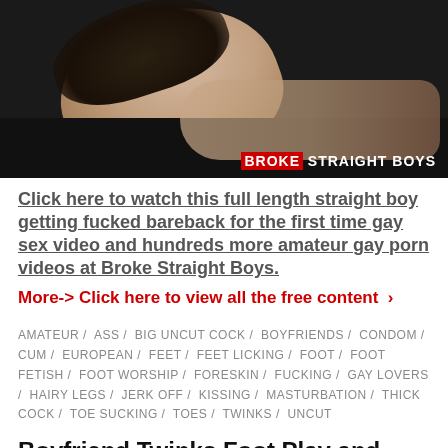[Figure (photo): Shirtless male person lying down, face partially visible, dark background with 'BROKE STRAIGHT BOYS' logo in lower right corner]
Click here to watch this full length straight boy getting fucked bareback for the first time gay sex video and hundreds more amateur gay porn videos at Broke Straight Boys.
More-> Click here to view all the free content ›
AMATEUR / ASS / BIG UNCUT COCK / BOYFRIENDS / CONDOM / CUM / EUROPEAN / FEET / FEET LICKING / FOOT / FOOT FETISH / FOOT WORSHIP / FORESKIN / FUCKING / GAY LOVERS / HAIRY LEGS / JERK OFF / KISSING / MASTURBATION / THICK COCK / TOE SUCKING / TOES / TWINKS / UNCUT
Boyfriend Twinks Foot Play and Fucking With A Big Uncut Cock